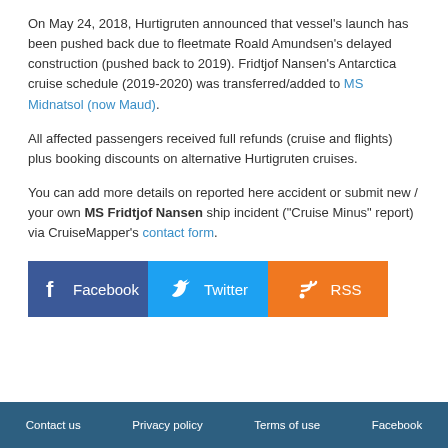On May 24, 2018, Hurtigruten announced that vessel's launch has been pushed back due to fleetmate Roald Amundsen's delayed construction (pushed back to 2019). Fridtjof Nansen's Antarctica cruise schedule (2019-2020) was transferred/added to MS Midnatsol (now Maud).
All affected passengers received full refunds (cruise and flights) plus booking discounts on alternative Hurtigruten cruises.
You can add more details on reported here accident or submit new / your own MS Fridtjof Nansen ship incident ("Cruise Minus" report) via CruiseMapper's contact form.
[Figure (other): Social media share buttons: Facebook (blue), Twitter (blue), RSS (orange)]
Contact us   Privacy policy   Terms of use   Facebook